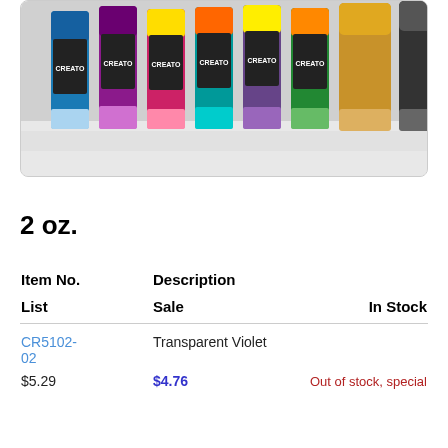[Figure (photo): Photo of multiple colorful paint bottles/markers arranged in a row, showing various bright colors including blue, purple, pink, yellow, orange, teal, gold, and black with branded labels.]
2 oz.
| Item No. | Description |  | List | Sale | In Stock |
| --- | --- | --- | --- | --- | --- |
| CR5102-02 | Transparent Violet |  | $5.29 | $4.76 | Out of stock, special |